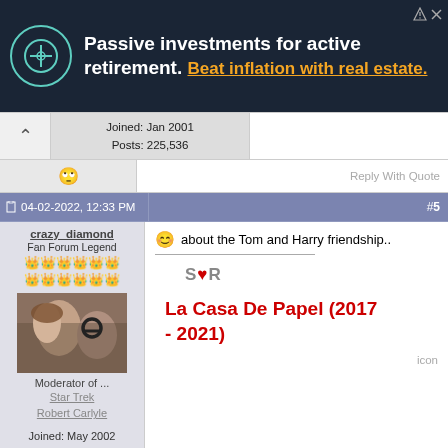[Figure (infographic): Ad banner: Passive investments for active retirement. Beat inflation with real estate. Dark background with teal circle logo.]
Joined: Jan 2001
Posts: 225,536
Reply With Quote
04-02-2022, 12:33 PM
#5
crazy_diamond
Fan Forum Legend
Moderator of ...
Star Trek
Robert Carlyle
Joined: May 2002
Posts: 355,387
🙂 about the Tom and Harry friendship..
S♥R
La Casa De Papel (2017 - 2021)
icon